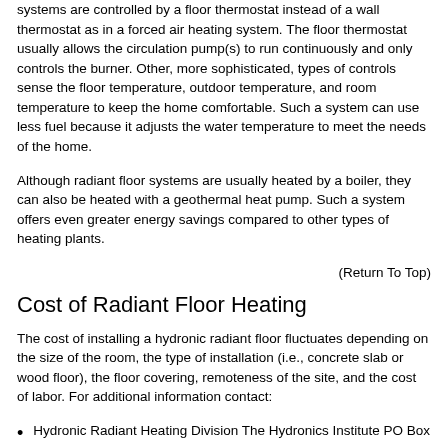systems are controlled by a floor thermostat instead of a wall thermostat as in a forced air heating system. The floor thermostat usually allows the circulation pump(s) to run continuously and only controls the burner. Other, more sophisticated, types of controls sense the floor temperature, outdoor temperature, and room temperature to keep the home comfortable. Such a system can use less fuel because it adjusts the water temperature to meet the needs of the home.
Although radiant floor systems are usually heated by a boiler, they can also be heated with a geothermal heat pump. Such a system offers even greater energy savings compared to other types of heating plants.
(Return To Top)
Cost of Radiant Floor Heating
The cost of installing a hydronic radiant floor fluctuates depending on the size of the room, the type of installation (i.e., concrete slab or wood floor), the floor covering, remoteness of the site, and the cost of labor. For additional information contact:
Hydronic Radiant Heating Division The Hydronics Institute PO Box